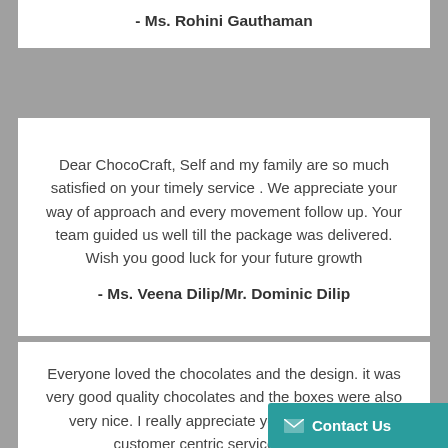- Ms. Rohini Gauthaman
Dear ChocoCraft, Self and my family are so much satisfied on your timely service . We appreciate your way of approach and every movement follow up. Your team guided us well till the package was delivered. Wish you good luck for your future growth
- Ms. Veena Dilip/Mr. Dominic Dilip
Everyone loved the chocolates and the design. it was very good quality chocolates and the boxes were also very nice. I really appreciate your flexibility and customer centric service which m…